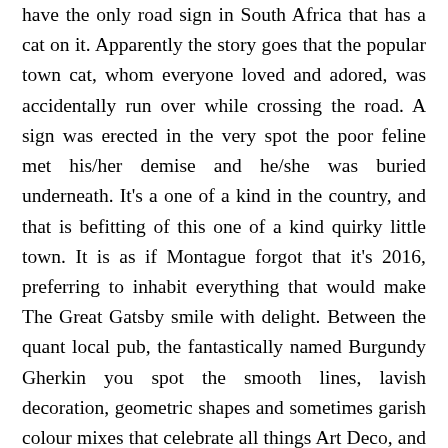have the only road sign in South Africa that has a cat on it. Apparently the story goes that the popular town cat, whom everyone loved and adored, was accidentally run over while crossing the road. A sign was erected in the very spot the poor feline met his/her demise and he/she was buried underneath. It's a one of a kind in the country, and that is befitting of this one of a kind quirky little town. It is as if Montague forgot that it's 2016, preferring to inhabit everything that would make The Great Gatsby smile with delight. Between the quant local pub, the fantastically named Burgundy Gherkin you spot the smooth lines, lavish decoration, geometric shapes and sometimes garish colour mixes that celebrate all things Art Deco, and none more so than the Montague Country hotel and the nearby Hot Springs. I almost half expected F. Scott Fitzgerald to pop out from behind the Hot Springs weirdly wonderful 1920's styled construction or bump into him